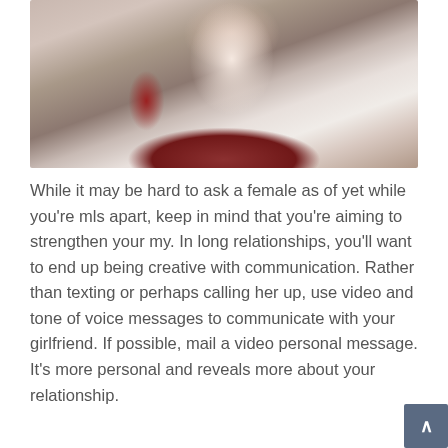[Figure (photo): A young woman with long dark hair wearing a white off-shoulder top, posed against a blurred indoor background with red chairs.]
While it may be hard to ask a female as of yet while you're mls apart, keep in mind that you're aiming to strengthen your my. In long relationships, you'll want to end up being creative with communication. Rather than texting or perhaps calling her up, use video and tone of voice messages to communicate with your girlfriend. If possible, mail a video personal message. It's more personal and reveals more about your relationship.